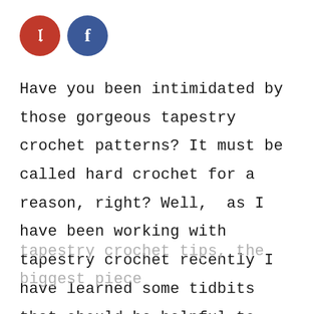[Figure (illustration): Two social media icon circles: a red Pinterest circle with 'p' and a blue Facebook circle with 'f']
Have you been intimidated by those gorgeous tapestry crochet patterns? It must be called hard crochet for a reason, right? Well,  as I have been working with tapestry crochet recently I have learned some tidbits that should be helpful to you. Before we get into the
tapestry crochet tips, the biggest piece